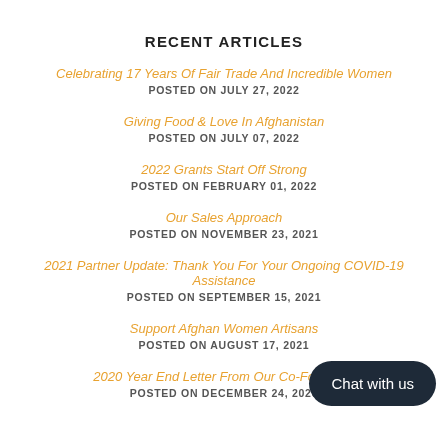RECENT ARTICLES
Celebrating 17 Years Of Fair Trade And Incredible Women
POSTED ON JULY 27, 2022
Giving Food & Love In Afghanistan
POSTED ON JULY 07, 2022
2022 Grants Start Off Strong
POSTED ON FEBRUARY 01, 2022
Our Sales Approach
POSTED ON NOVEMBER 23, 2021
2021 Partner Update: Thank You For Your Ongoing COVID-19 Assistance
POSTED ON SEPTEMBER 15, 2021
Support Afghan Women Artisans
POSTED ON AUGUST 17, 2021
2020 Year End Letter From Our Co-Founders
POSTED ON DECEMBER 24, 2020